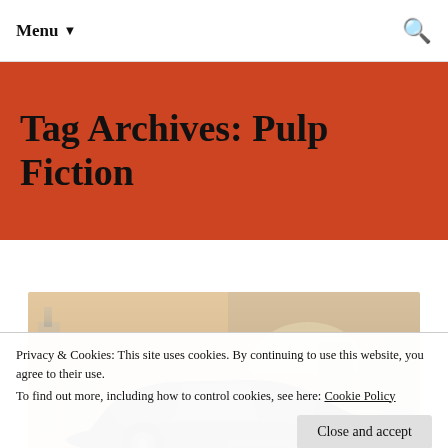Menu ▼
Tag Archives: Pulp Fiction
[Figure (illustration): Vintage-style illustration of a classic car silhouette in front of a city skyline, rendered in muted sepia and cool tones.]
Privacy & Cookies: This site uses cookies. By continuing to use this website, you agree to their use.
To find out more, including how to control cookies, see here: Cookie Policy
Close and accept